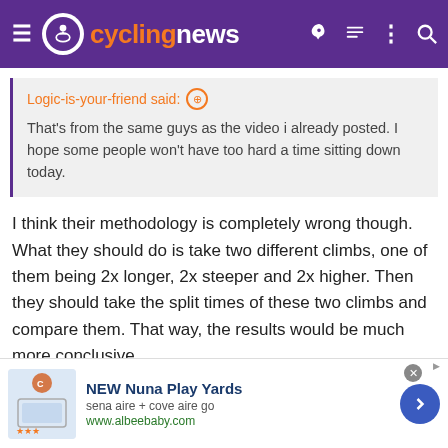cyclingnews
Logic-is-your-friend said: ⊕
That's from the same guys as the video i already posted. I hope some people won't have too hard a time sitting down today.
I think their methodology is completely wrong though. What they should do is take two different climbs, one of them being 2x longer, 2x steeper and 2x higher. Then they should take the split times of these two climbs and compare them. That way, the results would be much more conclusive.
Last edited: Jan 23, 2022
Wvv
[Figure (other): Advertisement banner: NEW Nuna Play Yards, sena aire + cove aire go, www.albeebaby.com]